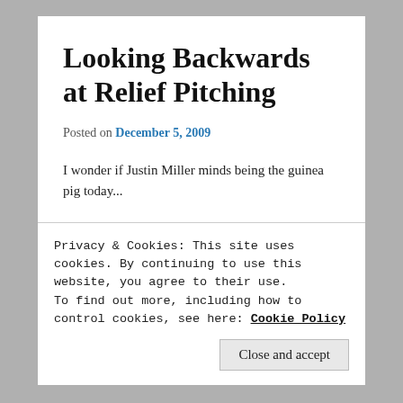Looking Backwards at Relief Pitching
Posted on December 5, 2009
I wonder if Justin Miller minds being the guinea pig today...
Justin Miller, former Blue Jay starter and Marlin reliever, just got signed by Los Angeles after what looks like a pretty decent season in San Francisco. Miller had a 3 – 3
Privacy & Cookies: This site uses cookies. By continuing to use this website, you agree to their use.
To find out more, including how to control cookies, see here: Cookie Policy